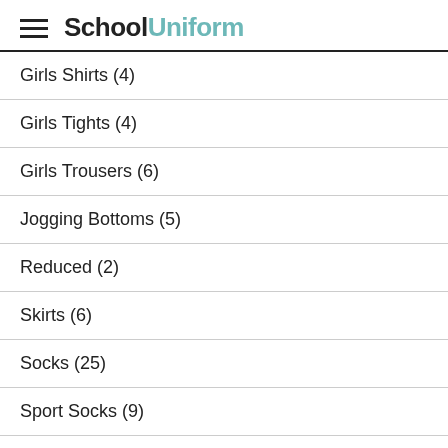SchoolUniform
Girls Shirts (4)
Girls Tights (4)
Girls Trousers (6)
Jogging Bottoms (5)
Reduced (2)
Skirts (6)
Socks (25)
Sport Socks (9)
SweatShirt (10)